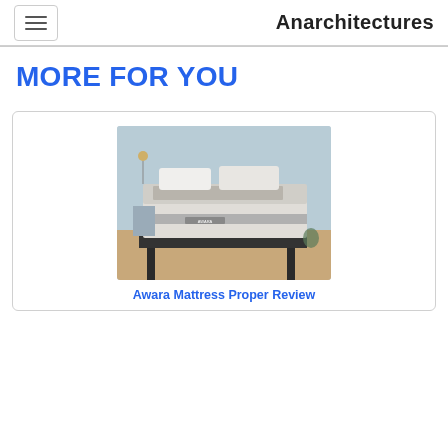Anarchitectures
MORE FOR YOU
[Figure (photo): Awara mattress on a bed frame with white pillows and bedding in a modern bedroom setting]
Awara Mattress Proper Review